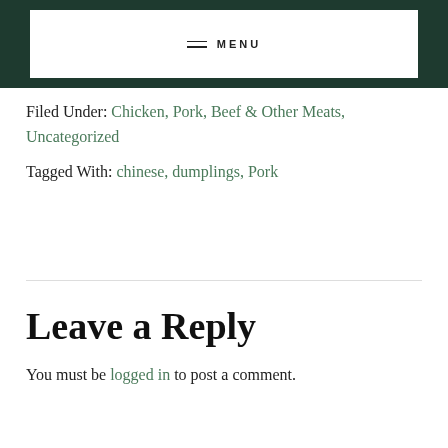≡ MENU
Filed Under: Chicken, Pork, Beef & Other Meats, Uncategorized
Tagged With: chinese, dumplings, Pork
Leave a Reply
You must be logged in to post a comment.